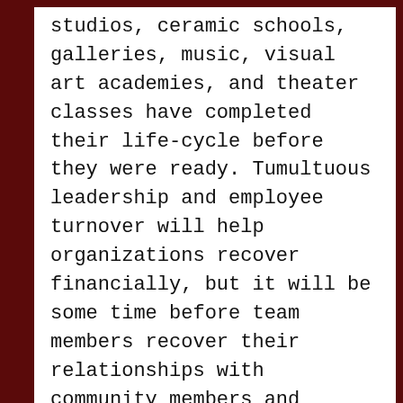studios, ceramic schools, galleries, music, visual art academies, and theater classes have completed their life-cycle before they were ready. Tumultuous leadership and employee turnover will help organizations recover financially, but it will be some time before team members recover their relationships with community members and students. Online platforms are numerous with varying scopes of knowledge. Accepting that our old identities are gone, exploring the transition, and reinventing ourselves will provide validation of our true skills.  Ultimately this will enhance the dynamics of our organizations through each stage of the change-over. Internal and external organizational subtleties of culture must be guided by a thoughtful and cooperative strategy. Ph...